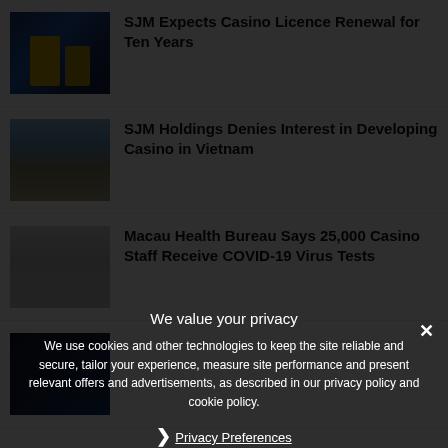SJM Expects Casino Licence Renewal for Ten Years
[Figure (photo): Night photo of Macau casino buildings with golden light]
SJM Holdings Denies Interest in Developing Casino in Vietnam
[Figure (photo): Daytime photo of a large building in Macau]
Macau Health Bureau Says 25,000 Casino Staff Receive COVID-19 Virus Tests
[Figure (photo): Indoor photo of a room with fluorescent lighting]
[Figure (photo): Dark photo partially visible behind privacy overlay]
We value your privacy
We use cookies and other technologies to keep the site reliable and secure, tailor your experience, measure site performance and present relevant offers and advertisements, as described in our privacy policy and cookie policy.
Privacy Preferences
CLIC... MENT
I Agree